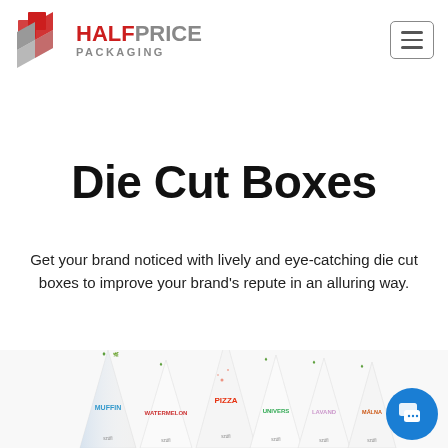[Figure (logo): Half Price Packaging logo with hexagonal red and grey icon and text 'HALFPRICE PACKAGING']
Die Cut Boxes
Get your brand noticed with lively and eye-catching die cut boxes to improve your brand's repute in an alluring way.
[Figure (photo): Array of branded die-cut box packaging tubes standing upright with colorful labels including Muffin, Pizza, and other varieties in white packaging with colored text]